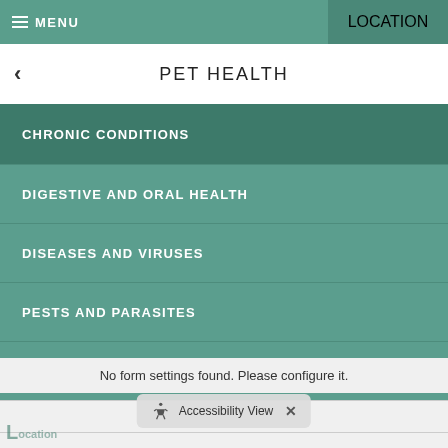MENU  LOCATION
PET HEALTH
CHRONIC CONDITIONS
DIGESTIVE AND ORAL HEALTH
DISEASES AND VIRUSES
PESTS AND PARASITES
ORTHOPEDICS
No form settings found. Please configure it.
Accessibility View